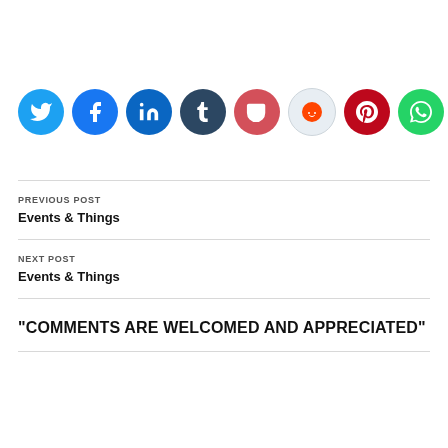[Figure (infographic): Row of 10 social media share buttons as colored circles: Twitter (blue bird), Facebook (blue f), LinkedIn (blue in), Tumblr (dark blue t), Pocket (red pocket), Reddit (light blue alien), Pinterest (red P), WhatsApp (green phone), Print (gray printer), Skype (blue S)]
PREVIOUS POST
Events & Things
NEXT POST
Events & Things
"COMMENTS ARE WELCOMED AND APPRECIATED"